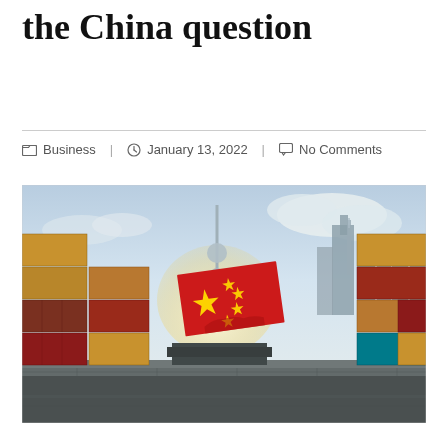the China question
Business  |  January 13, 2022  |  No Comments
[Figure (photo): Shipping containers stacked at a port with the Shanghai skyline in the background, including the Oriental Pearl Tower. A red shipping container with the Chinese flag design is prominent in the center.]